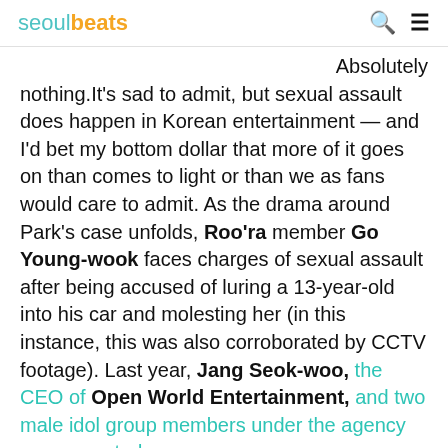seoulbeats
Absolutely nothing.It's sad to admit, but sexual assault does happen in Korean entertainment — and I'd bet my bottom dollar that more of it goes on than comes to light or than we as fans would care to admit. As the drama around Park's case unfolds, Roo'ra member Go Young-wook faces charges of sexual assault after being accused of luring a 13-year-old into his car and molesting her (in this instance, this was also corroborated by CCTV footage). Last year, Jang Seok-woo, the CEO of Open World Entertainment, and two male idol group members under the agency were arrested